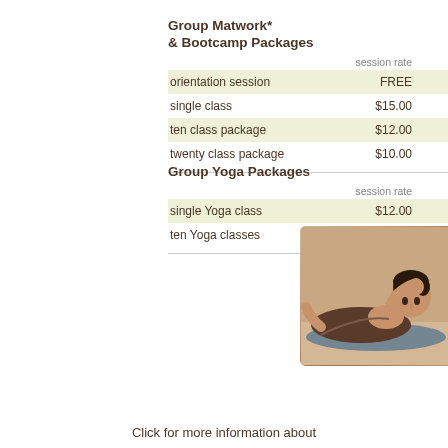|  | session rate |  |
| --- | --- | --- |
| orientation session | FREE |  |
| single class | $15.00 |  |
| ten class package | $12.00 |  |
| twenty class package | $10.00 |  |
|  | session rate |  |
| --- | --- | --- |
| single Yoga class | $12.00 |  |
| ten Yoga classes | $10.00 |  |
[Figure (photo): Photo of a man doing pilates/yoga exercise, shirtless in brown clothing, lying on a mat]
Click for more information about